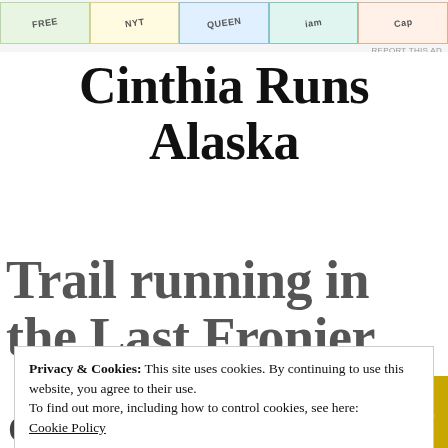[Figure (other): Ad banner strip at top with colorful segmented advertisement tiles (green, yellow, blue, teal, peach) with partial text visible including FREE, QUEEN, and other fragments. Small 'REPORT THIS AD' text below right.]
Cinthia Runs Alaska
Trail running in the Last Fronier
Privacy & Cookies: This site uses cookies. By continuing to use this website, you agree to their use.
To find out more, including how to control cookies, see here:
Cookie Policy
Close and accept